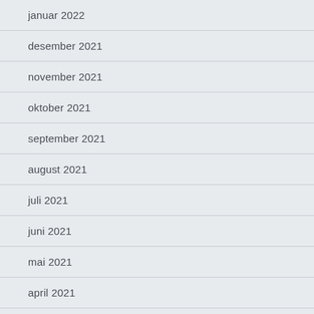januar 2022
desember 2021
november 2021
oktober 2021
september 2021
august 2021
juli 2021
juni 2021
mai 2021
april 2021